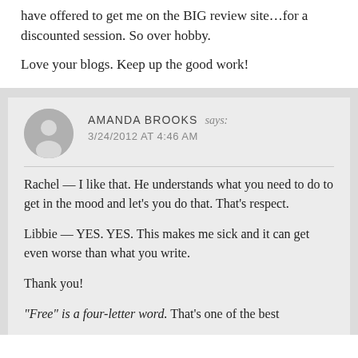have offered to get me on the BIG review site…for a discounted session. So over hobby.
Love your blogs. Keep up the good work!
AMANDA BROOKS says: 3/24/2012 AT 4:46 AM
Rachel — I like that. He understands what you need to do to get in the mood and let's you do that. That's respect.
Libbie — YES. YES. This makes me sick and it can get even worse than what you write.
Thank you!
“Free” is a four-letter word. That’s one of the best